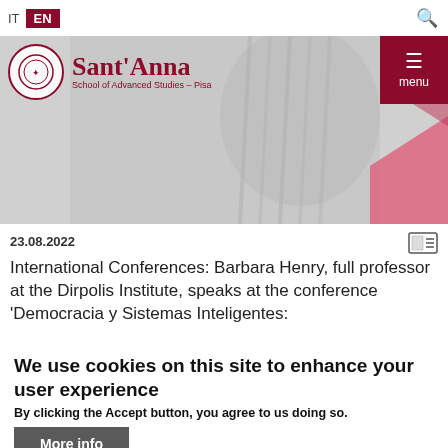IT  EN
[Figure (screenshot): Sant'Anna School of Advanced Studies – Pisa website header with logo, navigation bar with IT/EN language toggle, hamburger menu button in dark red, and a background image of a speaker at a conference with pink decorative shapes.]
23.08.2022
International Conferences: Barbara Henry, full professor at the Dirpolis Institute, speaks at the conference 'Democracia y Sistemas Inteligentes:
We use cookies on this site to enhance your user experience
By clicking the Accept button, you agree to us doing so.
More info
Accept
No, thanks